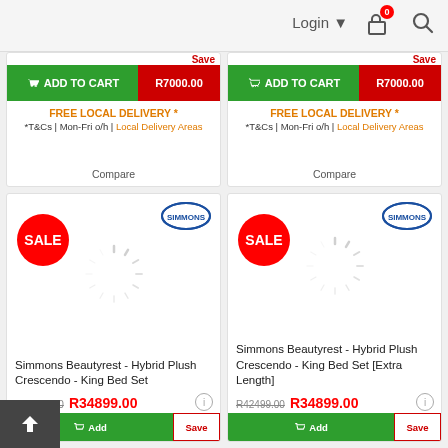Login ▼  [Cart: 0]  [Search]
Add To Cart  R7000.00
FREE LOCAL DELIVERY *
*T&Cs | Mon-Fri o/h | Local Delivery Areas
Compare
Add To Cart  R7000.00
FREE LOCAL DELIVERY *
*T&Cs | Mon-Fri o/h | Local Delivery Areas
Compare
[Figure (screenshot): Simmons Beautyrest - Hybrid Plush Crescendo - King Bed Set product card with SALE badge, Simmons logo, loading spinner. Old price R42499.00, new price R34899.00. Save button.]
[Figure (screenshot): Simmons Beautyrest - Hybrid Plush Crescendo - King Bed Set [Extra Length] product card with SALE badge, Simmons logo, loading spinner. Old price R42499.00, new price R34899.00. Save button.]